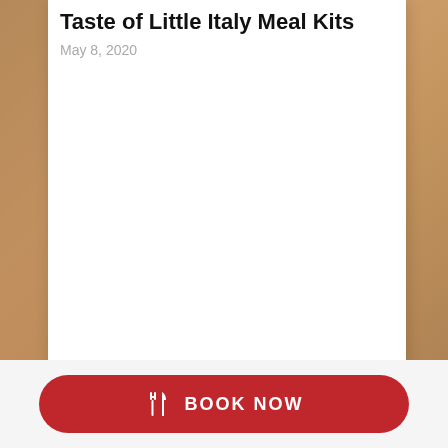Taste of Little Italy Meal Kits
May 8, 2020
Spring is in full bloom! In this month's NYC Foodie Link Roundup, we look at how to support small